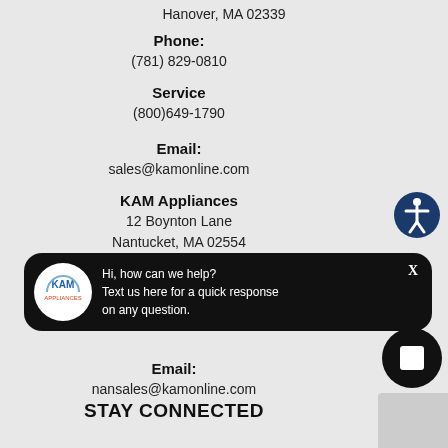Hanover, MA 02339
Phone:
(781) 829-0810
Service
(800)649-1790
Email:
sales@kamonline.com
KAM Appliances
12 Boynton Lane
Nantucket, MA 02554
[Figure (other): KAM Appliances chat widget with logo, text 'Hi, how can we help? Text us here for a quick response on any question.' and close button X]
Email:
nansales@kamonline.com
STAY CONNECTED